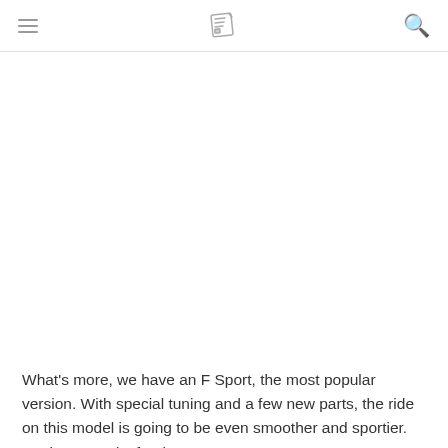[Figure (illustration): Newspaper/article icon in gray outline style, centered in the header]
What's more, we have an F Sport, the most popular version. With special tuning and a few new parts, the ride on this model is going to be even smoother and sportier. Towing capacity for the Lexus RX